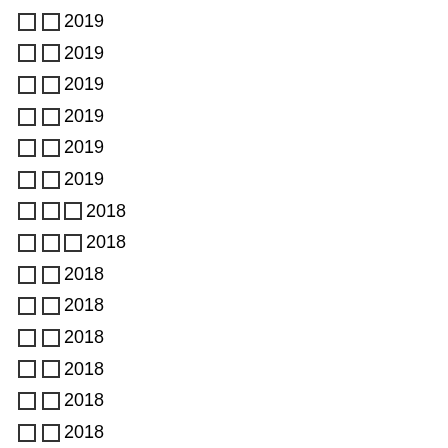□□ 2019
□□ 2019
□□ 2019
□□ 2019
□□ 2019
□□ 2019
□□□ 2018
□□□ 2018
□□ 2018
□□ 2018
□□ 2018
□□ 2018
□□ 2018
□□ 2018